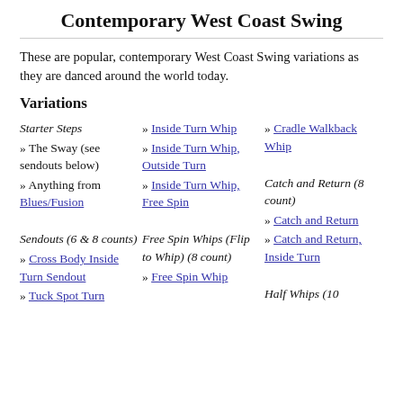Contemporary West Coast Swing
These are popular, contemporary West Coast Swing variations as they are danced around the world today.
Variations
Starter Steps
» The Sway (see sendouts below)
» Anything from Blues/Fusion
Sendouts (6 & 8 counts)
» Cross Body Inside Turn Sendout
» Tuck Spot Turn
» Inside Turn Whip
» Inside Turn Whip, Outside Turn
» Inside Turn Whip, Free Spin
Free Spin Whips (Flip to Whip) (8 count)
» Free Spin Whip
» Cradle Walkback Whip
Catch and Return (8 count)
» Catch and Return
» Catch and Return, Inside Turn
Half Whips (10